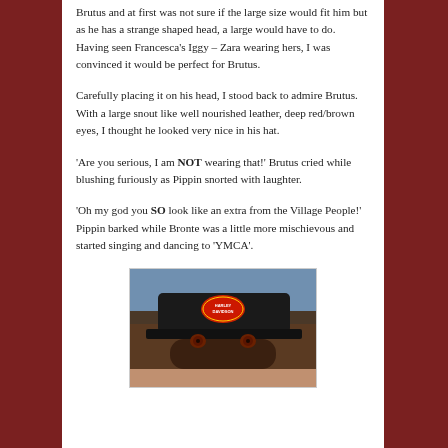Brutus and at first was not sure if the large size would fit him but as he has a strange shaped head, a large would have to do.  Having seen Francesca's Iggy – Zara wearing hers, I was convinced it would be perfect for Brutus.
Carefully placing it on his head, I stood back to admire Brutus.  With a large snout like well nourished leather, deep red/brown eyes, I thought he looked very nice in his hat.
'Are you serious, I am NOT wearing that!' Brutus cried while blushing furiously as Pippin snorted with laughter.
'Oh my god you SO look like an extra from the Village People!' Pippin barked while Bronte was a little more mischievous and started singing and dancing to 'YMCA'.
[Figure (photo): A dog wearing a black leather Harley-Davidson style biker cap, with deep red/brown eyes visible beneath the brim. Blue background behind the dog.]